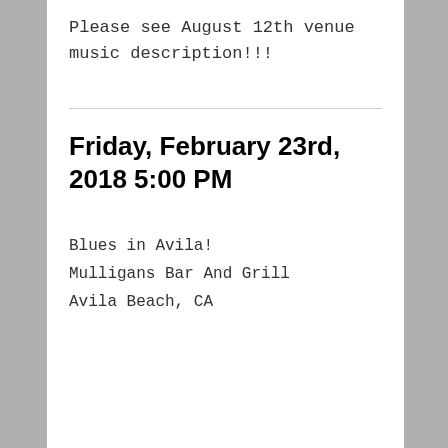Please see August 12th venue music description!!!
Friday, February 23rd, 2018 5:00 PM
Blues in Avila!
Mulligans Bar And Grill
Avila Beach, CA
2017
Friday, December 22nd, 2017